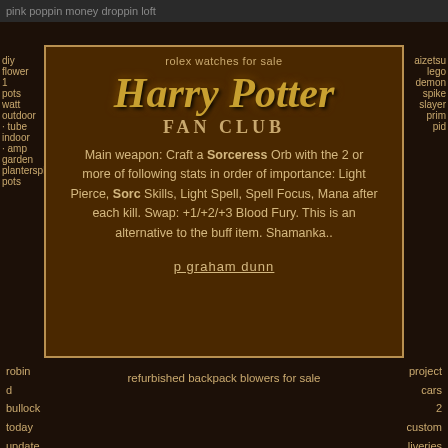pink poppin money droppin loft
rolex watches for sale
Harry Potter FAN CLUB
Main weapon: Craft a Sorceress Orb with the 2 or more of following stats in order of importance: Light Pierce, Sorc Skills, Light Spell, Spell Focus, Mana after each kill. Swap: +1/+2/+3 Blood Fury. This is an alternative to the buff item. Shamanka..
p graham dunn
robin d bullock today update
refurbished backpack blowers for sale
project cars 2 custom liveries
diy flower pots watt outdoor tube indoor amp garden plantersplant pots
aizetsu lego demon spike slayer prim pid